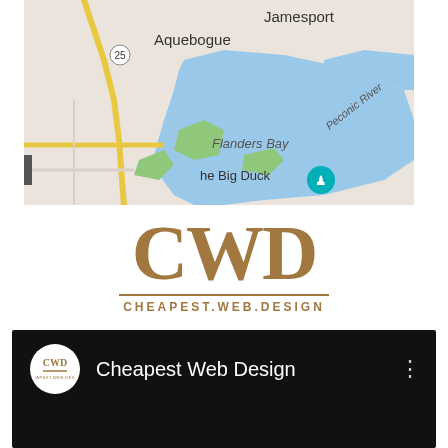[Figure (map): Google Maps screenshot showing Aquebogue, Jamesport, Flanders Bay, Peconic River, and The Big Duck location marker in New York]
[Figure (logo): CWD logo with large gold/tan letters CWD above a horizontal line and text CHEAPEST.WEB.DESIGN]
[Figure (screenshot): YouTube-style channel listing on black background showing CWD Cheapest Web Design channel with circular avatar logo and three-dot menu icon]